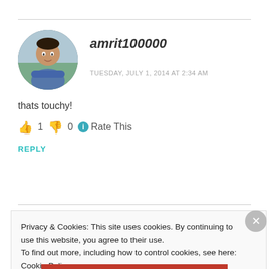[Figure (photo): Circular avatar photo of a young man with arms crossed, outdoors background]
amrit100000
TUESDAY, JULY 1, 2014 AT 2:34 AM
thats touchy!
👍 1 👎 0 ℹ Rate This
REPLY
Privacy & Cookies: This site uses cookies. By continuing to use this website, you agree to their use.
To find out more, including how to control cookies, see here: Cookie Policy
Close and accept